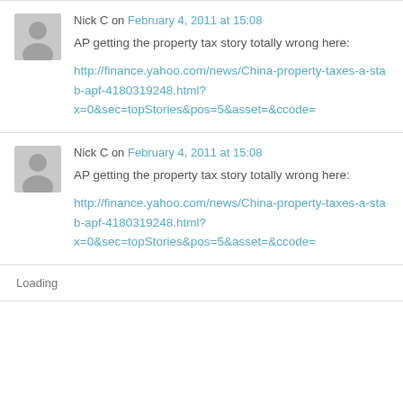Nick C on February 4, 2011 at 15:08
AP getting the property tax story totally wrong here:
http://finance.yahoo.com/news/China-property-taxes-a-stab-apf-4180319248.html?x=0&sec=topStories&pos=5&asset=&ccode=
Nick C on February 4, 2011 at 15:08
AP getting the property tax story totally wrong here:
http://finance.yahoo.com/news/China-property-taxes-a-stab-apf-4180319248.html?x=0&sec=topStories&pos=5&asset=&ccode=
Loading